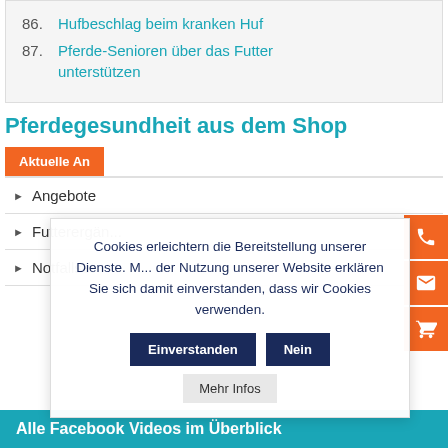86. Hufbeschlag beim kranken Huf
87. Pferde-Senioren über das Futter unterstützen
Pferdegesundheit aus dem Shop
Aktuelle An...
Angebote
Futterergän...
Notfallset
Cookies erleichtern die Bereitstellung unserer Dienste. Mit der Nutzung unserer Website erklären Sie sich damit einverstanden, dass wir Cookies verwenden.
Einverstanden | Nein | Mehr Infos
Alle Facebook Videos im Überblick